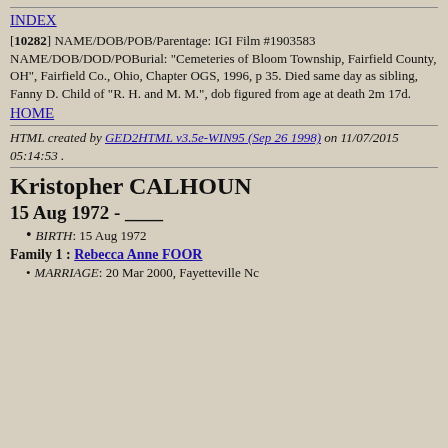INDEX
[10282] NAME/DOB/POB/Parentage: IGI Film #1903583 NAME/DOB/DOD/POBurial: "Cemeteries of Bloom Township, Fairfield County, OH", Fairfield Co., Ohio, Chapter OGS, 1996, p 35. Died same day as sibling, Fanny D. Child of "R. H. and M. M.", dob figured from age at death 2m 17d.
HOME
HTML created by GED2HTML v3.5e-WIN95 (Sep 26 1998) on 11/07/2015 05:14:53 .
Kristopher CALHOUN
15 Aug 1972 - ____
BIRTH: 15 Aug 1972
Family 1 : Rebecca Anne FOOR
MARRIAGE: 20 Mar 2000, Fayetteville Nc